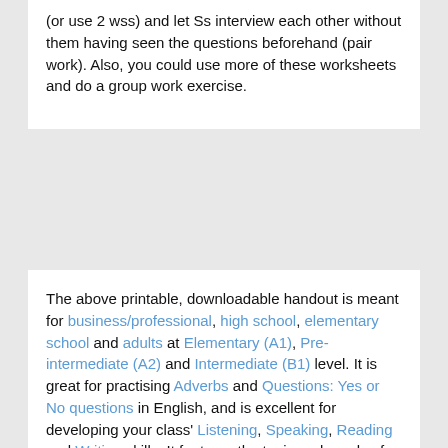(or use 2 wss) and let Ss interview each other without them having seen the questions beforehand (pair work). Also, you could use more of these worksheets and do a group work exercise.
The above printable, downloadable handout is meant for business/professional, high school, elementary school and adults at Elementary (A1), Pre-intermediate (A2) and Intermediate (B1) level. It is great for practising Adverbs and Questions: Yes or No questions in English, and is excellent for developing your class' Listening, Speaking, Reading and Writing skills. It features the topic and words of Daily routines. The answer key is provided, too.
Copyright License: This file is licensed by PhilipR under the Creative Commons Attribution Non-Commercial Share Alike License